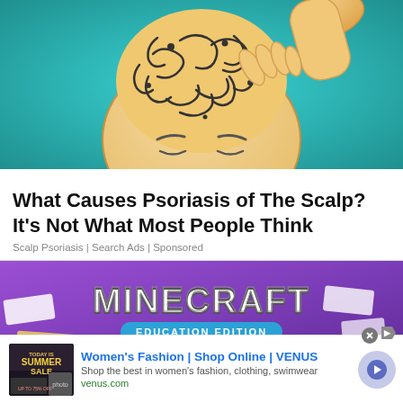[Figure (illustration): Artistic illustration of a bald person's head with swirling scalp patterns, with a hand touching the scalp, on a teal background]
What Causes Psoriasis of The Scalp? It's Not What Most People Think
Scalp Psoriasis | Search Ads | Sponsored
[Figure (screenshot): Minecraft Education Edition promotional banner with purple background, white 3D blocks, and Minecraft logo]
[Figure (infographic): Advertisement banner for Women's Fashion Shop Online VENUS with thumbnail image, text, and arrow button]